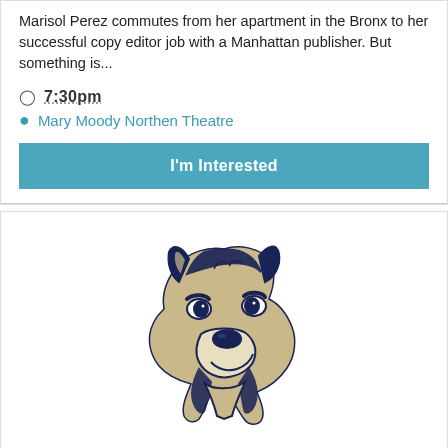Marisol Perez commutes from her apartment in the Bronx to her successful copy editor job with a Manhattan publisher. But something is...
🕐 7:30pm
📍 Mary Moody Northen Theatre
I'm Interested
[Figure (logo): St. Edward's University wolf mascot logo — stylized wolf head facing right in dark navy blue and tan/gold colors]
St. Edward's University Men's Basketball at UT...
St. Edward's University Men's Basketball at UT Tyler Streaming Video: